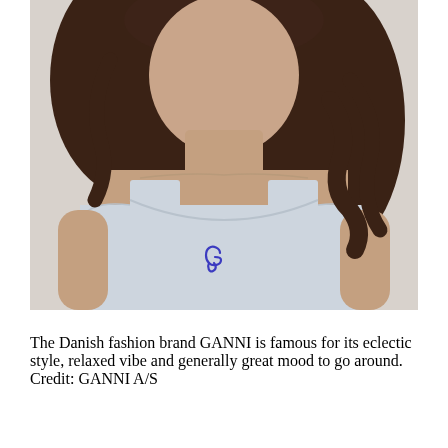[Figure (photo): Close-up photo of a woman with curly brown hair wearing a light blue/grey sleeveless tank top with a blue embroidered cursive 'G' logo on the chest. The background is white.]
The Danish fashion brand GANNI is famous for its eclectic style, relaxed vibe and generally great mood to go around. Credit: GANNI A/S